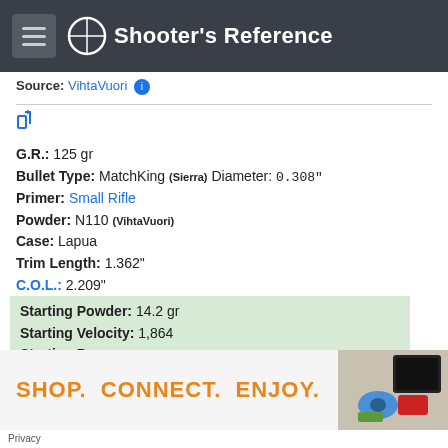Shooter's Reference
Source: VihtaVuori
GR.: 125 gr
Bullet Type: MatchKing (Sierra) Diameter: 0.308"
Primer: Small Rifle
Powder: N110 (VihtaVuori)
Case: Lapua
Trim Length: 1.362"
C.O.L.: 2.209"
Starting Powder: 14.2 gr
Starting Velocity: 1,864
Starting Pressure:
Max Powder: 15.7 gr
[Figure (infographic): Advertisement banner: SHOP. CONNECT. ENJOY. with product images on the right]
Privacy